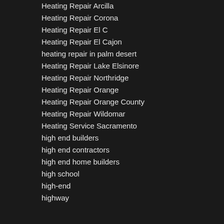Heating Repair Arcilla
Heating Repair Corona
Heating Repair El C
Heating Repair El Cajon
heating repair in palm desert
Heating Repair Lake Elsinore
Heating Repair Northridge
Heating Repair Orange
Heating Repair Orange County
Heating Repair Wildomar
Heating Service Sacramento
high end builders
high end contractors
high end home builders
high school
high-end
highway